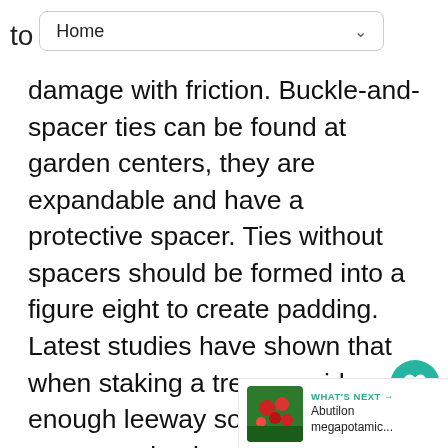to  Home
damage with friction. Buckle-and-spacer ties can be found at garden centers, they are expandable and have a protective spacer. Ties without spacers should be formed into a figure eight to create padding. Latest studies have shown that when staking a tree, provide enough leeway so that the tree can move back and forth in the wind. Stronger roots will develop this way. If the tree can not move back and forth, these important roots will not develop and the tree might fall over during a storm, once stakes are removed. When planting a tree, stake at the time of planting if staking is a necessity.